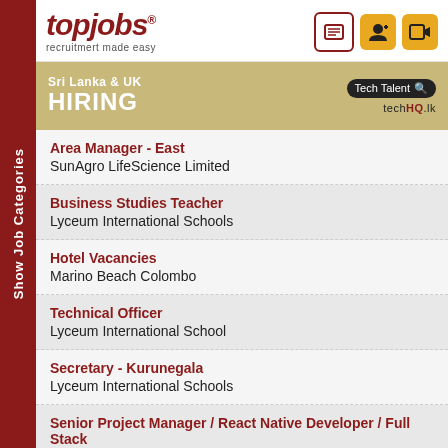[Figure (logo): topjobs logo with tagline 'recruitmert made easy']
[Figure (infographic): Sri Lanka & UK HIRING banner with Tech Talent search box and techHQ.lk branding]
Area Manager - East
SunAgro LifeScience Limited
Business Studies Teacher
Lyceum International Schools
Hotel Vacancies
Marino Beach Colombo
Technical Officer
Lyceum International School
Secretary - Kurunegala
Lyceum International Schools
Senior Project Manager / React Native Developer / Full Stack Developers (Mean)
Leapfrog Inc